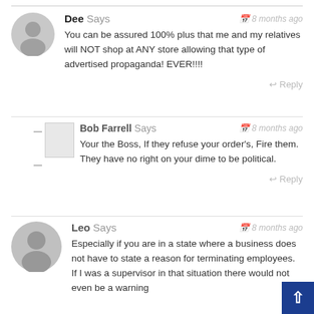Dee Says — 8 months ago
You can be assured 100% plus that me and my relatives will NOT shop at ANY store allowing that type of advertised propaganda! EVER!!!!
Reply
Bob Farrell Says — 8 months ago
Your the Boss, If they refuse your order's, Fire them. They have no right on your dime to be political.
Reply
Leo Says — 8 months ago
Especially if you are in a state where a business does not have to state a reason for terminating employees. If I was a supervisor in that situation there would not even be a warning